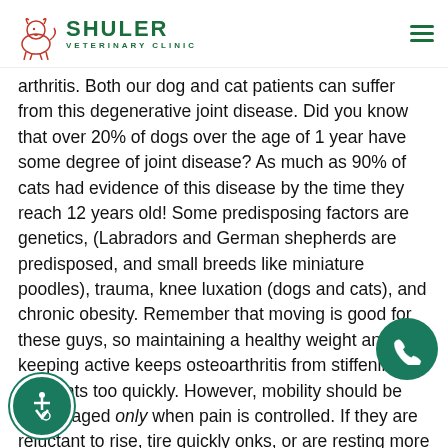Shuler Veterinary Clinic
arthritis. Both our dog and cat patients can suffer from this degenerative joint disease. Did you know that over 20% of dogs over the age of 1 year have some degree of joint disease? As much as 90% of cats had evidence of this disease by the time they reach 12 years old! Some predisposing factors are genetics, (Labradors and German shepherds are predisposed, and small breeds like miniature poodles), trauma, knee luxation (dogs and cats), and chronic obesity. Remember that moving is good for these guys, so maintaining a healthy weight and keeping active keeps osteoarthritis from stiffening up the joints too quickly. However, mobility should be encouraged only when pain is controlled. If they are reluctant to rise, tire quickly on walks, or are resting more than usual, it could be an indication of arthritis. This disease is painful, and good